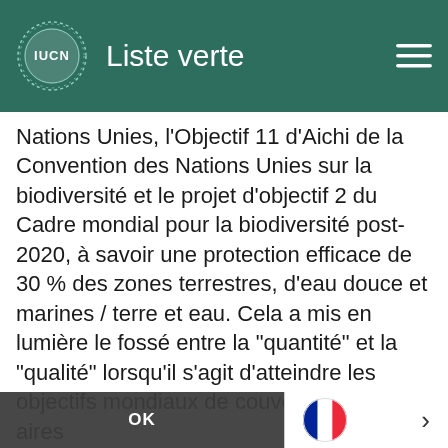Liste verte
Nations Unies, l'Objectif 11 d'Aichi de la Convention des Nations Unies sur la biodiversité et le projet d'objectif 2 du Cadre mondial pour la biodiversité post-2020, à savoir une protection efficace de 30 % des zones terrestres, d'eau douce et marines / terre et eau. Cela a mis en lumière le fossé entre la "quantité" et la "qualité" lorsqu'il s'agit d'atteindre les objectifs mondiaux de couverture des aires
protégées, et la façon dont le standard de la liste verte peut contribuer à combler ce fossé. Les jeunes professionnels ont ensuite posé des questions intéressantes sur les principes du consentement libre, préalable et éclairé (FPIC), sur la façon dont la norme gère les risques de "blanchiment écologique" et la différence entre la norme e
By using this site, you consent to the use of cookies and similar technologies to enhance your user experience. Learn more